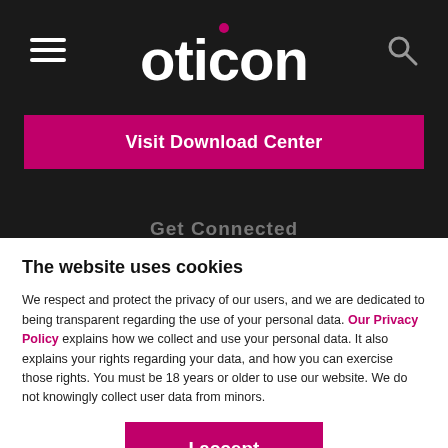[Figure (logo): Oticon logo in white text on dark background with pink dot above the letter i]
Visit Download Center
Get Connected
The website uses cookies
We respect and protect the privacy of our users, and we are dedicated to being transparent regarding the use of your personal data. Our Privacy Policy explains how we collect and use your personal data. It also explains your rights regarding your data, and how you can exercise those rights. You must be 18 years or older to use our website. We do not knowingly collect user data from minors.
I accept
Do not sell my personal data
Powered by:
Cookie Information